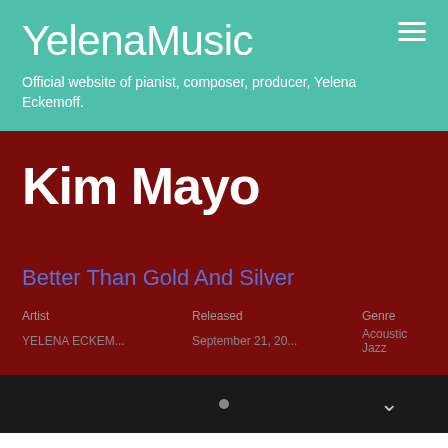YelenaMusic
Official website of pianist, composer, producer, Yelena Eckemoff.
Kim Mayo
Better Than Gold And Silver
| Artist | Released | Genre |
| --- | --- | --- |
| YELENA ECKEM... | September 21, 20... | Acoustic Jazz |